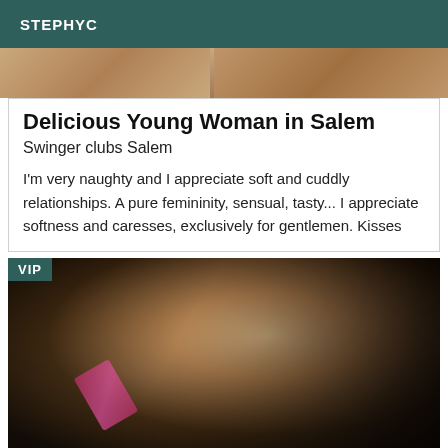STEPHYC
[Figure (photo): Partial photo strip showing two blurred photos at the top of a listing card]
Delicious Young Woman in Salem
Swinger clubs Salem
I'm very naughty and I appreciate soft and cuddly relationships. A pure femininity, sensual, tasty... I appreciate softness and caresses, exclusively for gentlemen. Kisses
[Figure (photo): VIP labeled photo of a woman lying down wearing a pink bikini top and black outfit, blurred/low quality]